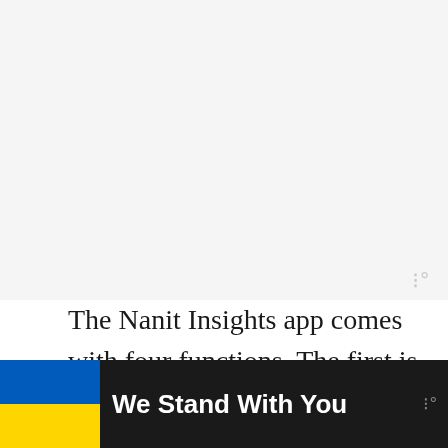[Figure (screenshot): Large blank/light gray area representing a screenshot or app content area at the top of the page]
The Nanit Insights app comes with four functions. The first is Sleep, which uses your baby's unique sleep data to come up with
[Figure (other): We Stand With You banner with Ukrainian flag colors (blue and yellow) on a dark background with a close button]